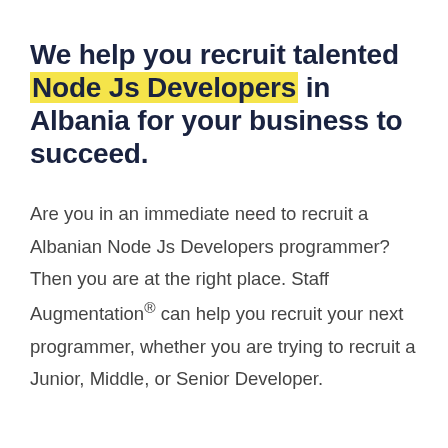We help you recruit talented Node Js Developers in Albania for your business to succeed.
Are you in an immediate need to recruit a Albanian Node Js Developers programmer? Then you are at the right place. Staff Augmentation® can help you recruit your next programmer, whether you are trying to recruit a Junior, Middle, or Senior Developer.